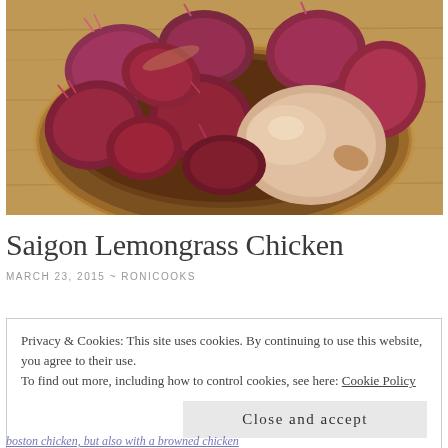[Figure (photo): A wooden bowl filled with red/purple shallots on a wooden surface. The shallots vary in size and one large pale/cream-colored shallot is visible on the right side.]
Saigon Lemongrass Chicken
MARCH 23, 2015  ~  RONICOOKS
Privacy & Cookies: This site uses cookies. By continuing to use this website, you agree to their use.
To find out more, including how to control cookies, see here: Cookie Policy
Close and accept